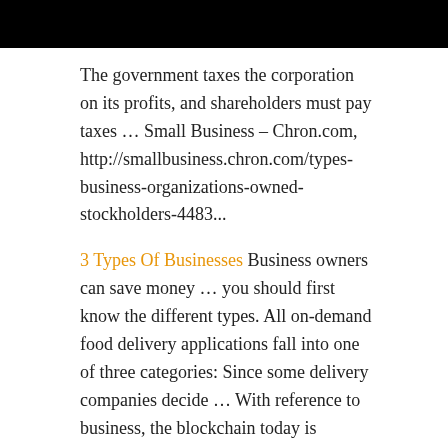[Figure (other): Black header bar at top of page]
The government taxes the corporation on its profits, and shareholders must pay taxes … Small Business – Chron.com, http://smallbusiness.chron.com/types-business-organizations-owned-stockholders-4483...
3 Types Of Businesses Business owners can save money … you should first know the different types. All on-demand food delivery applications fall into one of three categories: Since some delivery companies decide … With reference to business, the blockchain today is developing in three directions. The first relates to the classic large co… The Nature Of Business The Two Types Of Business One of the first questions prospective business owners ask is, "What type of business should I form?" The 7 most common types of